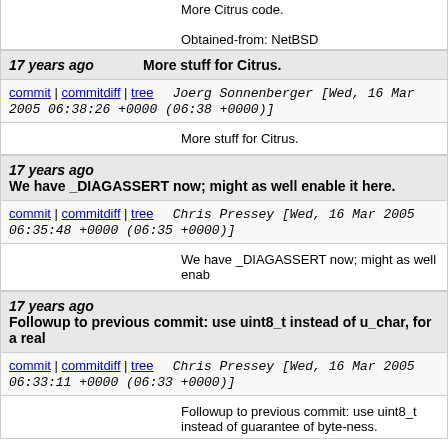More Citrus code.

Obtained-from: NetBSD
17 years ago   More stuff for Citrus.
commit | commitdiff | tree   Joerg Sonnenberger [Wed, 16 Mar 2005 06:38:26 +0000 (06:38 +0000)]
More stuff for Citrus.
17 years ago   We have _DIAGASSERT now; might as well enable it here.
commit | commitdiff | tree   Chris Pressey [Wed, 16 Mar 2005 06:35:48 +0000 (06:35 +0000)]
We have _DIAGASSERT now; might as well enab
17 years ago   Followup to previous commit: use uint8_t instead of u_char, for a real
commit | commitdiff | tree   Chris Pressey [Wed, 16 Mar 2005 06:33:11 +0000 (06:33 +0000)]
Followup to previous commit: use uint8_t instead of guarantee of byte-ness.